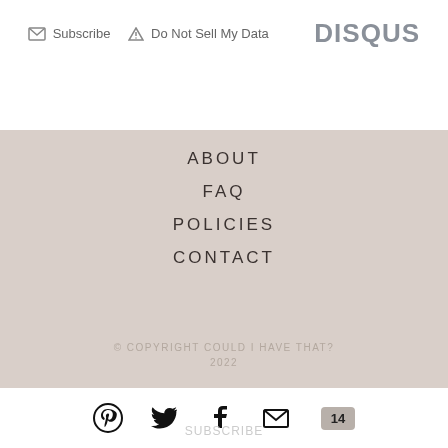Subscribe  Do Not Sell My Data  DISQUS
ABOUT
FAQ
POLICIES
CONTACT
© COPYRIGHT COULD I HAVE THAT? 2022
[Figure (other): Social media icons: Pinterest, Twitter, Facebook, Email, and a comment badge showing 14]